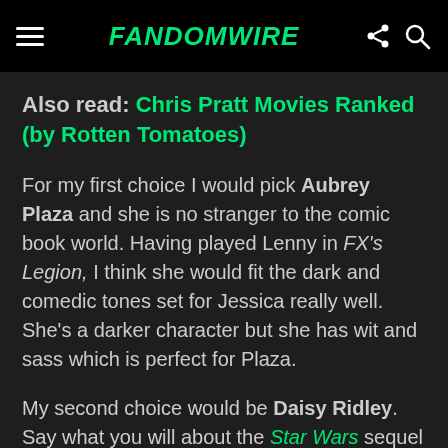FandomWire
Also read: Chris Pratt Movies Ranked (by Rotten Tomatoes)
For my first choice I would pick Aubrey Plaza and she is no stranger to the comic book world. Having played Lenny in FX's Legion, I think she would fit the dark and comedic tones set for Jessica really well. She's a darker character but she has wit and sass which is perfect for Plaza.
My second choice would be Daisy Ridley. Say what you will about the Star Wars sequel trilogy but to me Daisy gave a great performance as Rey. She's a